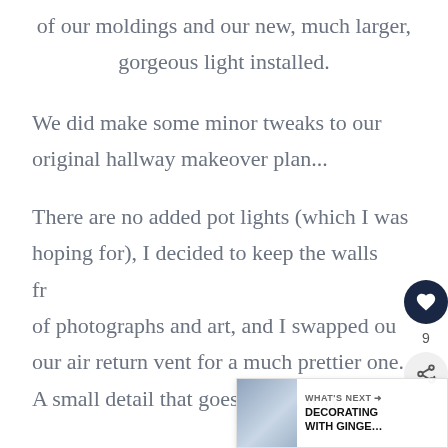of our moldings and our new, much larger, gorgeous light installed.
We did make some minor tweaks to our original hallway makeover plan...
There are no added pot lights (which I was hoping for), I decided to keep the walls fr… of photographs and art, and I swapped ou… our air return vent for a much prettier one. A small detail that goes a long way…